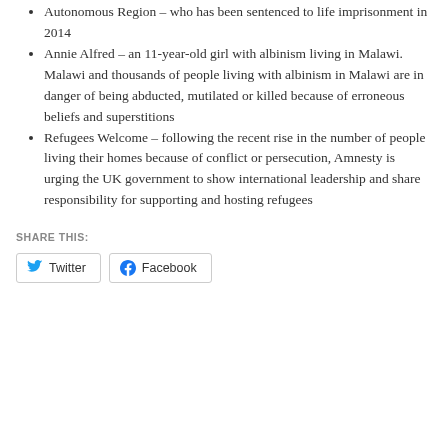Autonomous Region – who has been sentenced to life imprisonment in 2014
Annie Alfred – an 11-year-old girl with albinism living in Malawi.  Malawi and thousands of people living with albinism in Malawi are in danger of being abducted, mutilated or killed because of erroneous beliefs and superstitions
Refugees Welcome – following the recent rise in the number of people living their homes because of conflict or persecution, Amnesty is urging the UK government to show international leadership and share responsibility for supporting and hosting refugees
SHARE THIS:
Twitter  Facebook